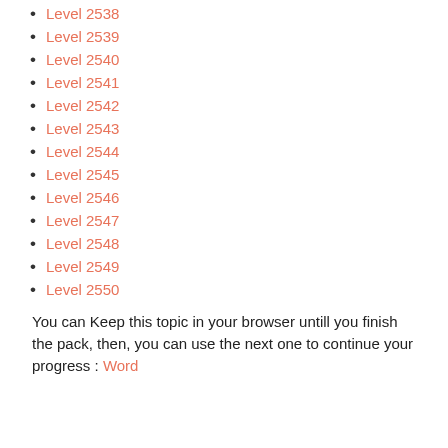Level 2538
Level 2539
Level 2540
Level 2541
Level 2542
Level 2543
Level 2544
Level 2545
Level 2546
Level 2547
Level 2548
Level 2549
Level 2550
You can Keep this topic in your browser untill you finish the pack, then, you can use the next one to continue your progress : Word